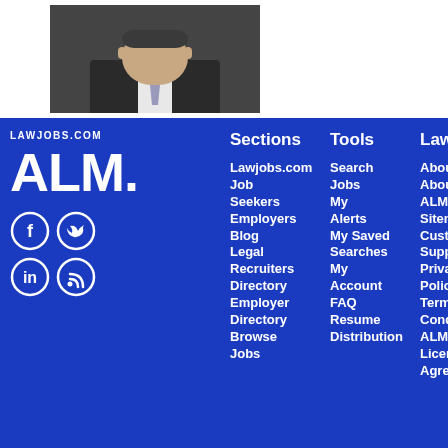[Figure (photo): Headshot of a man in a suit and tie]
[Figure (logo): ALM. logo in white text on blue background with LAWJOBS.COM label above]
Lawjobs.com
Job Seekers
Employers
Blog
Legal Recruiters
Directory
Employer Directory
Browse Jobs
Sections
Tools
Lawjobs.com
Search
Jobs
My Alerts
My Saved Searches
My Account
FAQ
Resume Distribution
About
About ALM
Sitemap
Customer Support
Privacy Policy
Terms and Conditions
ALM License Agreement